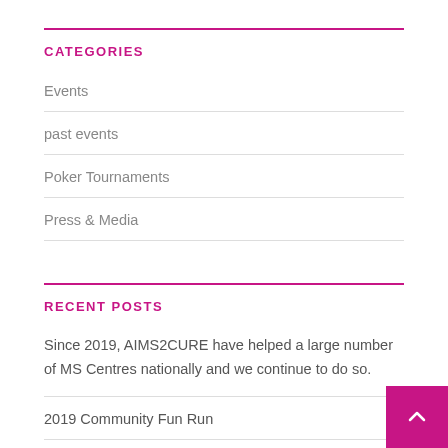CATEGORIES
Events
past events
Poker Tournaments
Press & Media
RECENT POSTS
Since 2019, AIMS2CURE have helped a large number of MS Centres nationally and we continue to do so.
2019 Community Fun Run